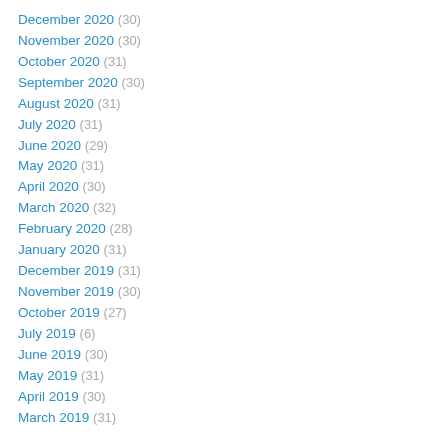December 2020 (30)
November 2020 (30)
October 2020 (31)
September 2020 (30)
August 2020 (31)
July 2020 (31)
June 2020 (29)
May 2020 (31)
April 2020 (30)
March 2020 (32)
February 2020 (28)
January 2020 (31)
December 2019 (31)
November 2019 (30)
October 2019 (27)
July 2019 (6)
June 2019 (30)
May 2019 (31)
April 2019 (30)
March 2019 (31)